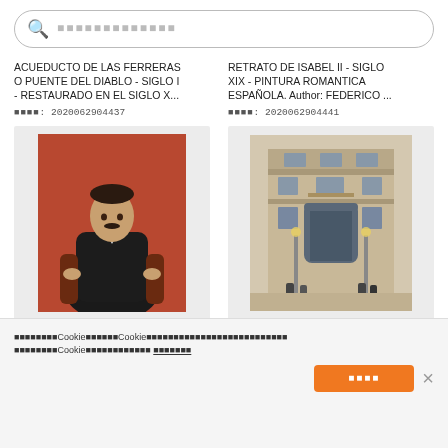Search bar with placeholder text (Japanese/CJK characters)
ACUEDUCTO DE LAS FERRERAS O PUENTE DEL DIABLO - SIGLO I - RESTAURADO EN EL SIGLO X...
■■■■: 2020062904437
RETRATO DE ISABEL II - SIGLO XIX - PINTURA ROMANTICA ESPAÑOLA. Author: FEDERICO ...
■■■■: 2020062904441
[Figure (photo): Portrait painting of a man in dark suit seated in chair against red/orange background]
[Figure (photo): Exterior photo of a classical stone building facade with people standing outside]
Cookie notice text in Japanese/CJK with Cookie references and a link